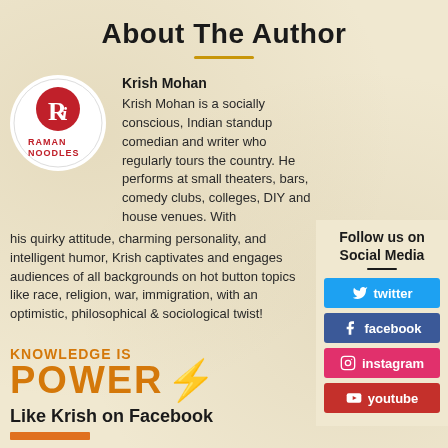About The Author
Krish Mohan
Krish Mohan is a socially conscious, Indian standup comedian and writer who regularly tours the country. He performs at small theaters, bars, comedy clubs, colleges, DIY and house venues. With his quirky attitude, charming personality, and intelligent humor, Krish captivates and engages audiences of all backgrounds on hot button topics like race, religion, war, immigration, with an optimistic, philosophical & sociological twist!
Follow us on Social Media
twitter
facebook
instagram
youtube
KNOWLEDGE IS
POWER⚡
Like Krish on Facebook